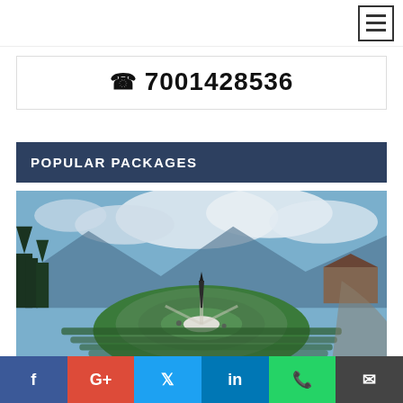☰ (hamburger menu icon)
☎ 7001428536
POPULAR PACKAGES
[Figure (photo): Aerial view of a circular ornamental garden with manicured hedges and a central monument/statue, surrounded by evergreen trees and mountains with cloudy sky in background. Appears to be a hill-station tourist destination.]
f  G+  🐦  in  WhatsApp  ✉